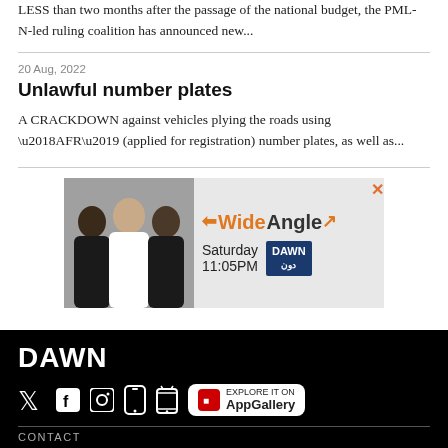LESS than two months after the passage of the national budget, the PML-N-led ruling coalition has announced new...
20 Aug, 2022
Unlawful number plates
A CRACKDOWN against vehicles plying the roads using ‘AFR’ (applied for registration) number plates, as well as...
[Figure (illustration): Advertisement for Wide Angle TV show on DAWN, showing three men in suits, show name 'Wide Angle', Saturday 11:05PM, DAWN logo badge]
DAWN
[Social icons: Twitter, Facebook, Instagram, iOS app, Android app, AppGallery]
CONTACT